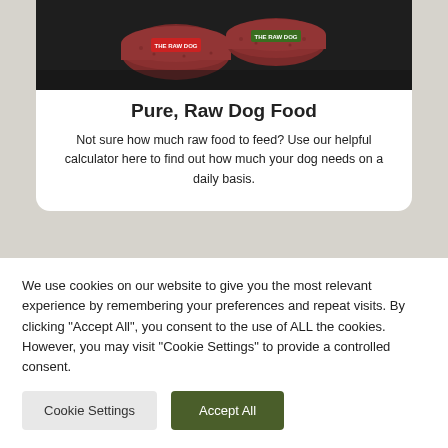[Figure (photo): Raw dog food sausage/roll packages on a dark background, with red and green branded packaging]
Pure, Raw Dog Food
Not sure how much raw food to feed? Use our helpful calculator here to find out how much your dog needs on a daily basis.
We use cookies on our website to give you the most relevant experience by remembering your preferences and repeat visits. By clicking "Accept All", you consent to the use of ALL the cookies. However, you may visit "Cookie Settings" to provide a controlled consent.